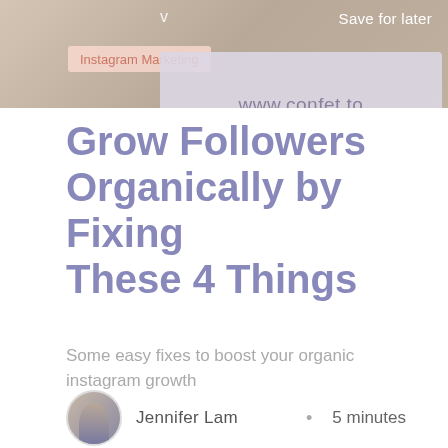[Figure (screenshot): Top image area showing a light brown/beige textured background with 'v' label and 'Save for later' button on the right. An Instagram Marketing category tag overlaid on the left. A card overlay in the center-right with 'www.confet.to' URL text.]
Grow Followers Organically by Fixing These 4 Things
Some easy fixes to boost your organic instagram growth
Jennifer Lam  •  5 minutes